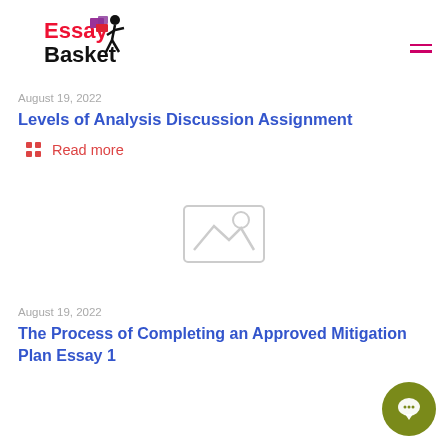Essay Basket [logo]
August 19, 2022
Levels of Analysis Discussion Assignment
Read more
[Figure (illustration): Placeholder image icon (grey image placeholder graphic)]
August 19, 2022
The Process of Completing an Approved Mitigation Plan Essay 1